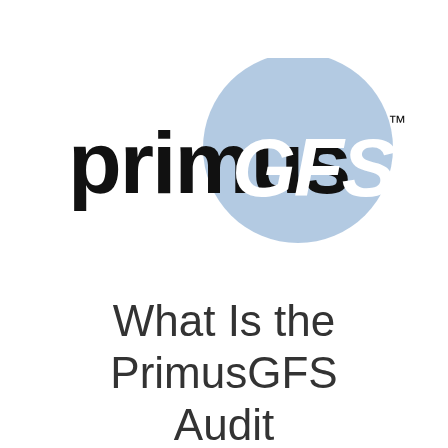[Figure (logo): PrimusGFS logo: bold black lowercase 'primus' text followed by a light blue circle containing white bold italic 'GFS' text, with a small TM superscript to the right]
What Is the PrimusGFS Audit